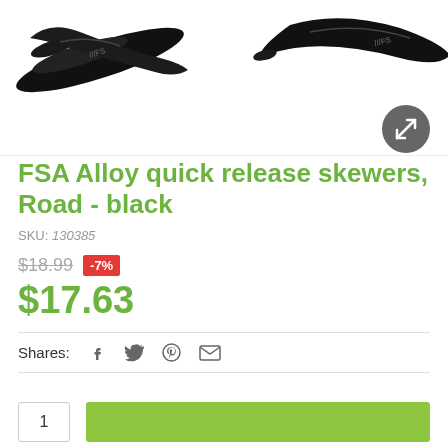[Figure (photo): Two black FSA alloy quick release skewers shown from above on a white background]
FSA Alloy quick release skewers, Road - black
SKU: 130385
$18.99 -7% $17.63
Shares: (social share icons: Facebook, Twitter, Pinterest, Email)